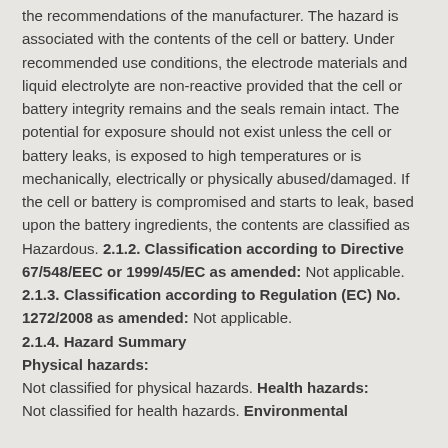the recommendations of the manufacturer. The hazard is associated with the contents of the cell or battery. Under recommended use conditions, the electrode materials and liquid electrolyte are non-reactive provided that the cell or battery integrity remains and the seals remain intact. The potential for exposure should not exist unless the cell or battery leaks, is exposed to high temperatures or is mechanically, electrically or physically abused/damaged. If the cell or battery is compromised and starts to leak, based upon the battery ingredients, the contents are classified as Hazardous. 2.1.2. Classification according to Directive 67/548/EEC or 1999/45/EC as amended: Not applicable. 2.1.3. Classification according to Regulation (EC) No. 1272/2008 as amended: Not applicable. 2.1.4. Hazard Summary Physical hazards: Not classified for physical hazards. Health hazards: Not classified for health hazards. Environmental